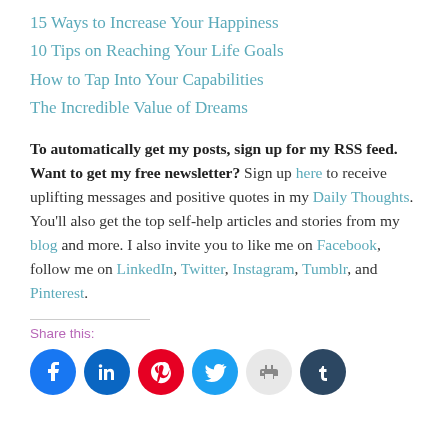15 Ways to Increase Your Happiness
10 Tips on Reaching Your Life Goals
How to Tap Into Your Capabilities
The Incredible Value of Dreams
To automatically get my posts, sign up for my RSS feed. Want to get my free newsletter? Sign up here to receive uplifting messages and positive quotes in my Daily Thoughts. You'll also get the top self-help articles and stories from my blog and more. I also invite you to like me on Facebook, follow me on LinkedIn, Twitter, Instagram, Tumblr, and Pinterest.
Share this:
[Figure (other): Row of six social media icon circles: Facebook (blue), LinkedIn (blue), Pinterest (red), Twitter (light blue), Print (light gray), Tumblr (dark navy)]